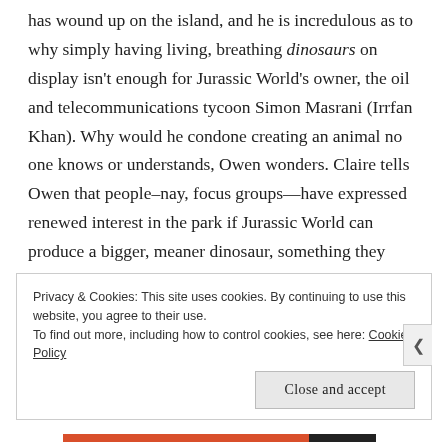has wound up on the island, and he is incredulous as to why simply having living, breathing dinosaurs on display isn't enough for Jurassic World's owner, the oil and telecommunications tycoon Simon Masrani (Irrfan Khan). Why would he condone creating an animal no one knows or understands, Owen wonders. Claire tells Owen that people–nay, focus groups—have expressed renewed interest in the park if Jurassic World can produce a bigger, meaner dinosaur, something they haven't seen before, thereby echoing the movie studios' persistence to churn out mind-numbing entertainments with high
Privacy & Cookies: This site uses cookies. By continuing to use this website, you agree to their use.
To find out more, including how to control cookies, see here: Cookie Policy
Close and accept